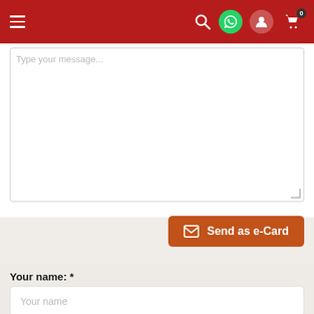[Figure (screenshot): Red navigation bar with hamburger menu on left and icons (search, WhatsApp, user, cart with 0 badge) on right]
[Figure (screenshot): White text area input box for typing a message, partially visible at top]
[Figure (screenshot): Orange 'Send as e-Card' button with envelope icon]
Your name: *
[Figure (screenshot): Input field with placeholder 'Your name']
Your e-mail address: *
[Figure (screenshot): Input field with placeholder 'Your e-mail address']
Retype your e-mail address: *
[Figure (screenshot): Input field with placeholder 'Your e-mail address']
Recipient's e-mail address: *